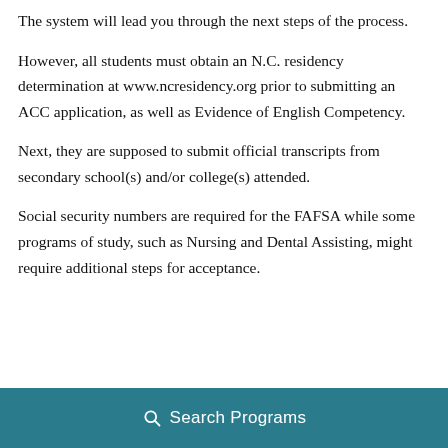The system will lead you through the next steps of the process.
However, all students must obtain an N.C. residency determination at www.ncresidency.org prior to submitting an ACC application, as well as Evidence of English Competency.
Next, they are supposed to submit official transcripts from secondary school(s) and/or college(s) attended.
Social security numbers are required for the FAFSA while some programs of study, such as Nursing and Dental Assisting, might require additional steps for acceptance.
Search Programs